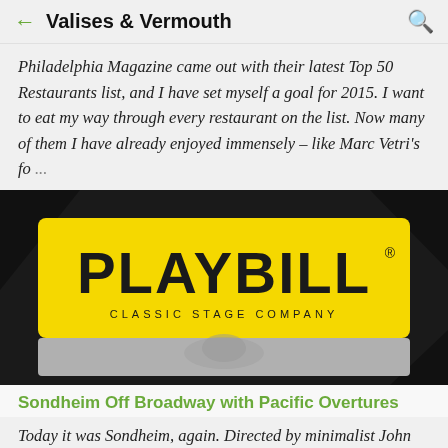Valises & Vermouth
Philadelphia Magazine came out with their latest Top 50 Restaurants list, and I have set myself a goal for 2015. I want to eat my way through every restaurant on the list. Now many of them I have already enjoyed immensely – like Marc Vetri's fo…
[Figure (photo): A Playbill program with yellow cover showing 'PLAYBILL' in large bold text and 'CLASSIC STAGE COMPANY' below it, photographed on a dark surface.]
Sondheim Off Broadway with Pacific Overtures
Today it was Sondheim, again. Directed by minimalist John Doyle, again. I first saw Doyle direct in the brilliant 2005 version